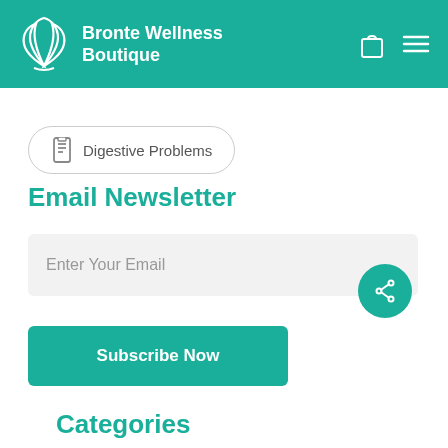[Figure (logo): Bronte Wellness Boutique header with teal background, leaf logo on left, shopping bag and hamburger menu icons on right]
Digestive Problems
Email Newsletter
Enter Your Email
Subscribe Now
Categories